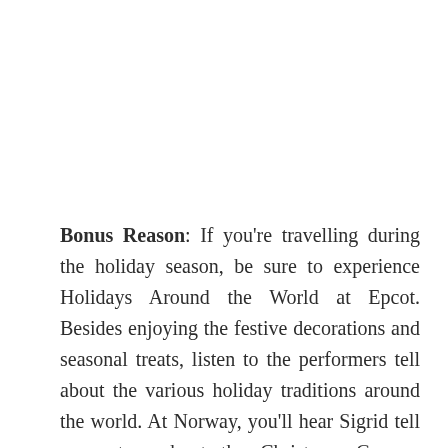Bonus Reason: If you're travelling during the holiday season, be sure to experience Holidays Around the World at Epcot. Besides enjoying the festive decorations and seasonal treats, listen to the performers tell about the various holiday traditions around the world. At Norway, you'll hear Sigrid tell youngsters about the Christmas Gnome, Julenissen. Check Times Guides for exact performance times.